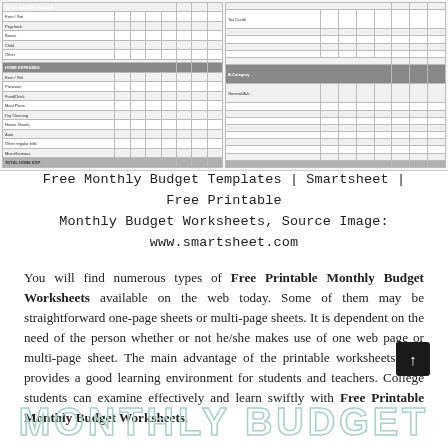[Figure (screenshot): Screenshot of a Free Monthly Budget Template spreadsheet from Smartsheet, showing two side-by-side budget tables with section headers, income/expense rows, and totals.]
Free Monthly Budget Templates | Smartsheet | Free Printable Monthly Budget Worksheets, Source Image: www.smartsheet.com
You will find numerous types of Free Printable Monthly Budget Worksheets available on the web today. Some of them may be straightforward one-page sheets or multi-page sheets. It is dependent on the need of the person whether or not he/she makes use of one web page or multi-page sheet. The main advantage of the printable worksheets is it provides a good learning environment for students and teachers. College students can examine effectively and learn swiftly with Free Printable Monthly Budget Worksheets.
[Figure (other): Large outlined text reading MONTHLY BUDGET in light teal/mint color at the bottom of the page.]